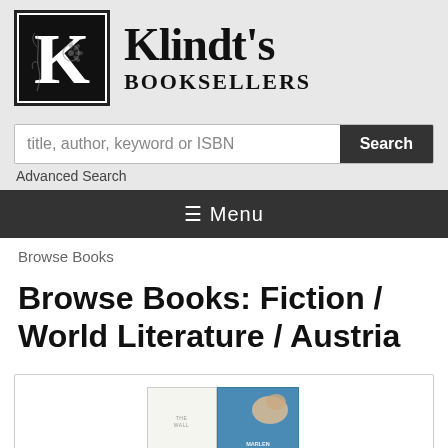[Figure (logo): Klindt's Booksellers logo with ornate K in a black bordered box followed by the text Klindt's Booksellers]
title, author, keyword or ISBN
Search
Advanced Search
≡ Menu
Browse Books
Browse Books: Fiction / World Literature / Austria
[Figure (photo): Book cover - The Wall by Marlen Haushofer, showing white and blue cover design]